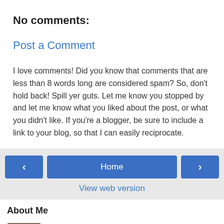No comments:
Post a Comment
I love comments! Did you know that comments that are less than 8 words long are considered spam? So, don't hold back! Spill yer guts. Let me know you stopped by and let me know what you liked about the post, or what you didn't like. If you're a blogger, be sure to include a link to your blog, so that I can easily reciprocate.
< Home > View web version
About Me
Mary B